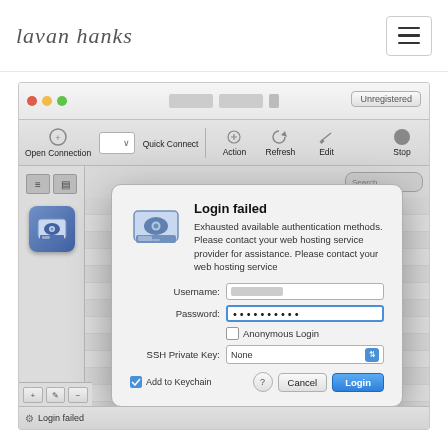lavan hanks
[Figure (screenshot): macOS FTP/SFTP application showing a Login failed dialog. The dialog displays an error: Exhausted available authentication methods. Please contact your web hosting service provider for assistance. Fields shown: Username (obscured), Password (filled with dots, active blue border), Anonymous Login checkbox, SSH Private Key dropdown set to None. Footer has Add to Keychain checkbox (checked), a help button, Cancel button, and a blue Login button. The app toolbar shows Open Connection, Quick Connect, Action, Refresh, Edit, Stop. Status bar shows Login failed.]